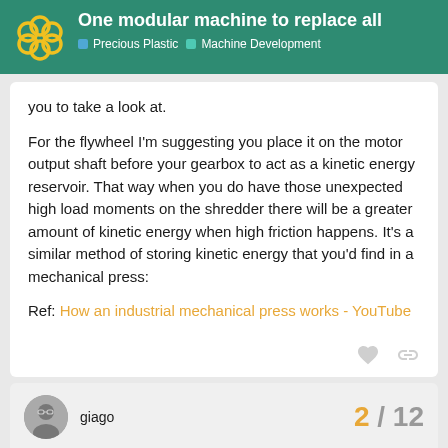One modular machine to replace all | Precious Plastic | Machine Development
you to take a look at.
For the flywheel I'm suggesting you place it on the motor output shaft before your gearbox to act as a kinetic energy reservoir. That way when you do have those unexpected high load moments on the shredder there will be a greater amount of kinetic energy when high friction happens. It's a similar method of storing kinetic energy that you'd find in a mechanical press:
Ref: How an industrial mechanical press works - YouTube
giago
2 / 12